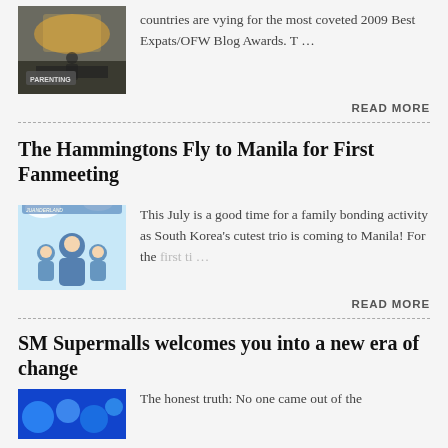[Figure (photo): Thumbnail image showing a stage or conference presentation with a colorful backdrop]
countries are vying for the most coveted 2009 Best Expats/OFW Blog Awards. T …
READ MORE
The Hammingtons Fly to Manila for First Fanmeeting
[Figure (photo): Movie or event poster for Hammingtons Juanderland featuring a man and two children in blue outfits]
This July is a good time for a family bonding activity as South Korea's cutest trio is coming to Manila! For the first ti …
READ MORE
SM Supermalls welcomes you into a new era of change
[Figure (photo): Blue circular bubble shapes on bright blue background]
The honest truth: No one came out of the